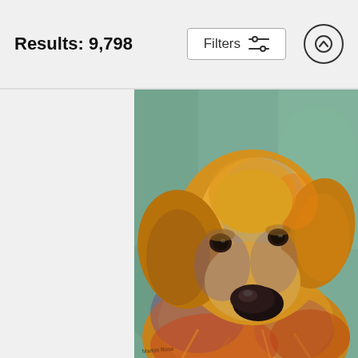Results: 9,798
[Figure (screenshot): UI header bar showing 'Results: 9,798' on the left, a 'Filters' button with a settings icon in the center, and a scroll-up arrow button on the right]
[Figure (photo): Oil painting portrait of a Golden Retriever dog with impressionistic brushwork, warm golden-orange fur tones with purple and blue highlights, against a teal/green textured background. The dog faces slightly right with soulful dark eyes. Artist signature visible at bottom left.]